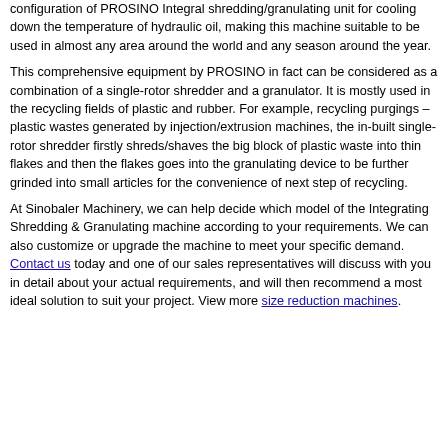configuration of PROSINO Integral shredding/granulating unit for cooling down the temperature of hydraulic oil, making this machine suitable to be used in almost any area around the world and any season around the year.
This comprehensive equipment by PROSINO in fact can be considered as a combination of a single-rotor shredder and a granulator. It is mostly used in the recycling fields of plastic and rubber. For example, recycling purgings – plastic wastes generated by injection/extrusion machines, the in-built single-rotor shredder firstly shreds/shaves the big block of plastic waste into thin flakes and then the flakes goes into the granulating device to be further grinded into small articles for the convenience of next step of recycling.
At Sinobaler Machinery, we can help decide which model of the Integrating Shredding & Granulating machine according to your requirements. We can also customize or upgrade the machine to meet your specific demand. Contact us today and one of our sales representatives will discuss with you in detail about your actual requirements, and will then recommend a most ideal solution to suit your project. View more size reduction machines.